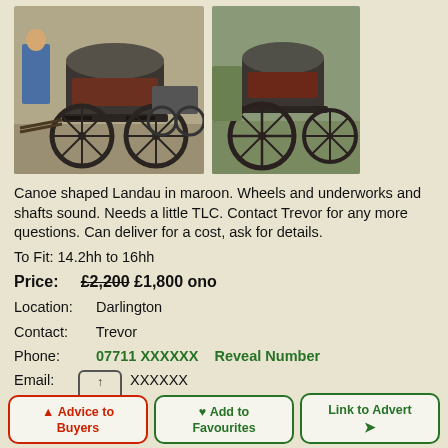[Figure (photo): Two photographs of a canoe-shaped Landau carriage. Left photo shows a larger view of the carriage with a covered hood, wooden spoke wheels, and a person in blue shirt visible in background. Right photo shows a side profile of the same or similar carriage.]
Canoe shaped Landau in maroon. Wheels and underworks and shafts sound. Needs a little TLC. Contact Trevor for any more questions. Can deliver for a cost, ask for details.
To Fit: 14.2hh to 16hh
Price: £2,200 £1,800 ono
Location: Darlington
Contact: Trevor
Phone: 07711 XXXXXX    Reveal Number
Email: XXXXXX
▲ Advice to Buyers
♥ Add to Favourites
Link to Advert